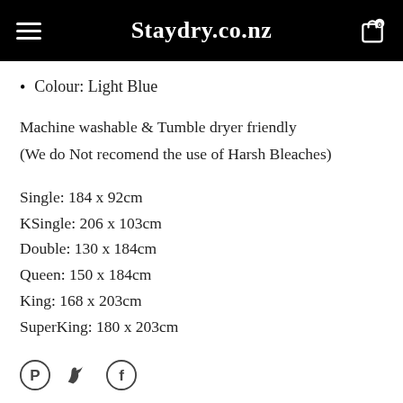Staydry.co.nz
Colour: Light Blue
Machine washable & Tumble dryer friendly
(We do Not recomend the use of Harsh Bleaches)
Single: 184 x 92cm
KSingle: 206 x 103cm
Double: 130 x 184cm
Queen: 150 x 184cm
King: 168 x 203cm
SuperKing: 180 x 203cm
[Figure (other): Social media share icons: Pinterest, Twitter, Facebook]